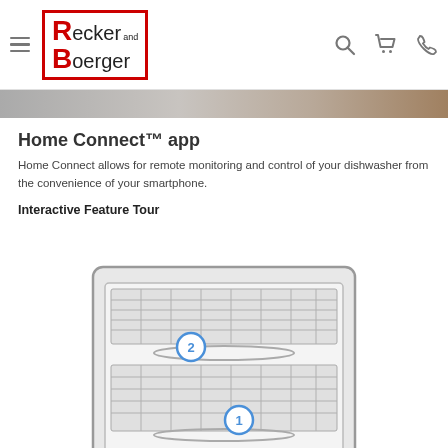Recker and Boerger — navigation header with hamburger menu, logo, search, cart, and phone icons
[Figure (photo): Partial view of a kitchen appliance product image in a horizontal strip]
Home Connect™ app
Home Connect allows for remote monitoring and control of your dishwasher from the convenience of your smartphone.
Interactive Feature Tour
[Figure (photo): Interactive feature tour diagram of a dishwasher interior showing numbered callout circles (1 and 2) pointing to features inside the dishwasher racks]